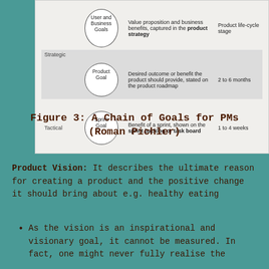[Figure (infographic): A chain of goals diagram for Product Managers by Roman Pichler, showing a table with circles representing User and Business Goals (Strategic level, Product life-cycle stage), Product Goal (Strategic level, 2 to 6 months), and Sprint Goal (Tactical level, 1 to 4 weeks) with descriptions of each.]
Figure 3: A Chain of Goals for PMs (Roman Pichler)
Product Vision: It describes the ultimate reason for creating a product and the positive change it should bring about e.g. healthy eating
As the vision is an inspirational and visionary goal, it cannot be measured. In fact, one might never fully realise the